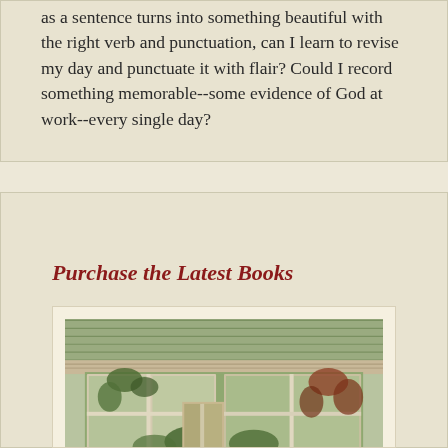as a sentence turns into something beautiful with the right verb and punctuation, can I learn to revise my day and punctuate it with flair? Could I record something memorable--some evidence of God at work--every single day?
Purchase the Latest Books
[Figure (photo): Photograph of a greenhouse or conservatory with white-framed windows, overgrown with green and reddish-brown plants and vines]